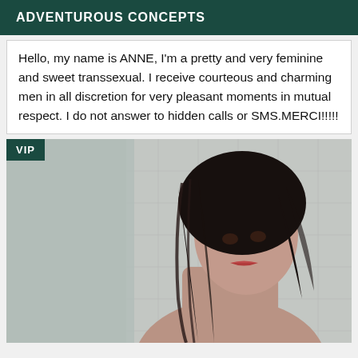ADVENTUROUS CONCEPTS
Hello, my name is ANNE, I'm a pretty and very feminine and sweet transsexual. I receive courteous and charming men in all discretion for very pleasant moments in mutual respect. I do not answer to hidden calls or SMS.MERCI!!!!!
[Figure (photo): Photo of a young woman with long dark wet hair, looking over her shoulder, in what appears to be a bathroom/shower setting. A VIP badge is overlaid in the top-left corner.]